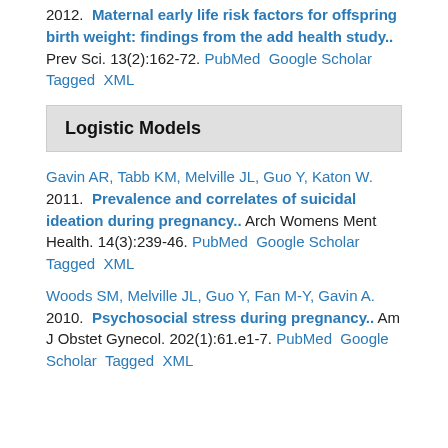2012. Maternal early life risk factors for offspring birth weight: findings from the add health study.. Prev Sci. 13(2):162-72. PubMed Google Scholar Tagged XML
Logistic Models
Gavin AR, Tabb KM, Melville JL, Guo Y, Katon W. 2011. Prevalence and correlates of suicidal ideation during pregnancy.. Arch Womens Ment Health. 14(3):239-46. PubMed Google Scholar Tagged XML
Woods SM, Melville JL, Guo Y, Fan M-Y, Gavin A. 2010. Psychosocial stress during pregnancy.. Am J Obstet Gynecol. 202(1):61.e1-7. PubMed Google Scholar Tagged XML